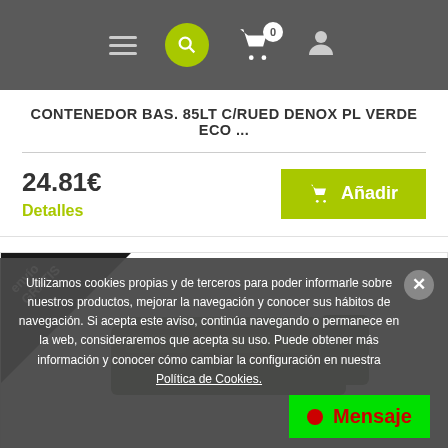Navigation bar with hamburger menu, search, cart (0), and user icon
CONTENEDOR BAS. 85LT C/RUED DENOX PL VERDE ECO ...
24.81€
Detalles
Añadir
[Figure (photo): Product image of a green toner/container with envío GRATIS badge]
Utilizamos cookies propias y de terceros para poder informarle sobre nuestros productos, mejorar la navegación y conocer sus hábitos de navegación. Si acepta este aviso, continúa navegando o permanece en la web, consideraremos que acepta su uso. Puede obtener más información y conocer cómo cambiar la configuración en nuestra Política de Cookies.
Mensaje